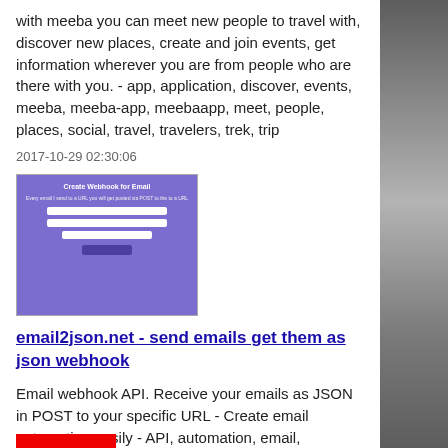with meeba you can meet new people to travel with, discover new places, create and join events, get information wherever you are from people who are there with you. - app, application, discover, events, meeba, meeba-app, meebaapp, meet, people, places, social, travel, travelers, trek, trip
2017-10-29 02:30:06
[Figure (screenshot): Screenshot of the email2json.net webhook creation page with purple background and form fields]
email2json.net - send emails get them as json webhook
Email webhook API. Receive your emails as JSON in POST to your specific URL - Create email automation easily - API, automation, email, email2json, json, mail, mail-api, post, webhook
2017-10-28 14:22:21